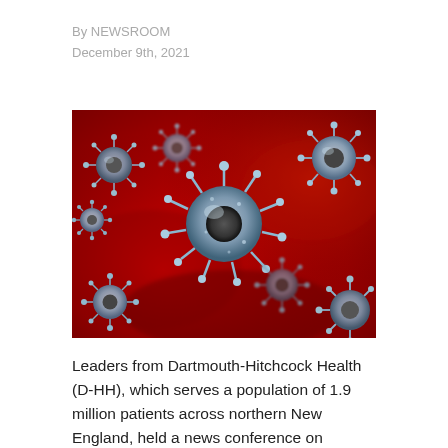By NEWSROOM
December 9th, 2021
[Figure (photo): Close-up microscope image of multiple COVID-19 coronavirus particles rendered in blue-grey on a vivid red background]
Leaders from Dartmouth-Hitchcock Health (D-HH), which serves a population of 1.9 million patients across northern New England, held a news conference on Wednesday, December 8, to address New Hampshire's growing COVID-19 crisis, ongoing